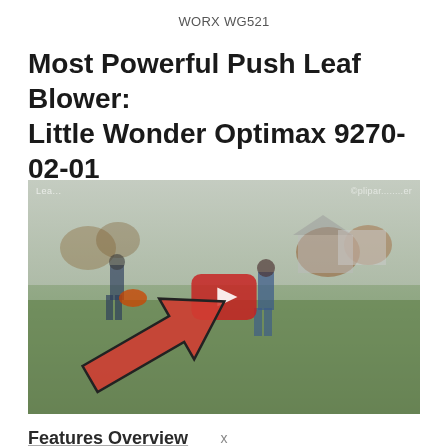WORX WG521
Most Powerful Push Leaf Blower: Little Wonder Optimax 9270-02-01
[Figure (screenshot): Video thumbnail showing two people using push leaf blowers on a lawn with autumn trees in background. A red YouTube play button is visible in the center with a large red arrow pointing to it from the lower left.]
Features Overview